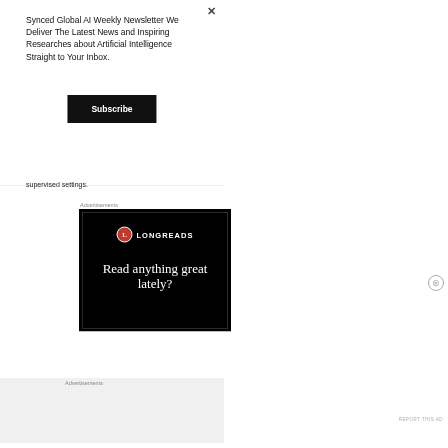Synced Global AI Weekly Newsletter We Deliver The Latest News and Inspiring Researches about Artificial Intelligence Straight to Your Inbox.
Subscribe
supervised settings.
Advertisements
[Figure (screenshot): Longreads advertisement banner with black background, red circle logo with L, LONGREADS text, and headline 'Read anything great lately?']
Advertisements